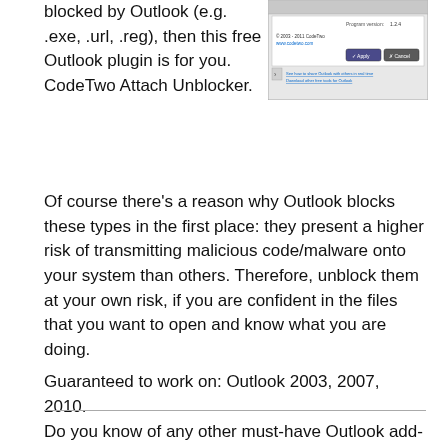blocked by Outlook (e.g. .exe, .url, .reg), then this free Outlook plugin is for you. CodeTwo Attach Unblocker.
[Figure (screenshot): Screenshot of the CodeTwo Attach Unblocker plugin dialog window showing Program version 1.2.4, copyright 2003-2011 CodeTwo, www.codetwo.com, Apply and Cancel buttons, and links to share Outlook and download other free tools.]
Of course there's a reason why Outlook blocks these types in the first place: they present a higher risk of transmitting malicious code/malware onto your system than others. Therefore, unblock them at your own risk, if you are confident in the files that you want to open and know what you are doing.
Guaranteed to work on: Outlook 2003, 2007, 2010.
Do you know of any other must-have Outlook add-ons that I missed? Let me know about them in the comments section.